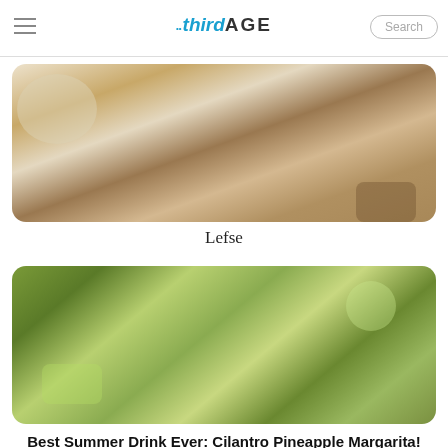thirdAGE
[Figure (photo): Plate of rolled lefse (Norwegian flatbread) on a white plate with a knife]
Lefse
[Figure (photo): Pineapple slices and cilantro margarita drinks on a wooden table]
Best Summer Drink Ever: Cilantro Pineapple Margarita!